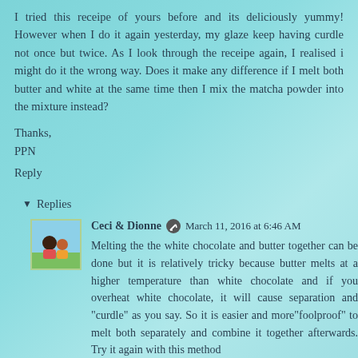I tried this receipe of yours before and its deliciously yummy! However when I do it again yesterday, my glaze keep having curdle not once but twice. As I look through the receipe again, I realised i might do it the wrong way. Does it make any difference if I melt both butter and white at the same time then I mix the matcha powder into the mixture instead?
Thanks,
PPN
Reply
Replies
Ceci & Dionne  March 11, 2016 at 6:46 AM
Melting the the white chocolate and butter together can be done but it is relatively tricky because butter melts at a higher temperature than white chocolate and if you overheat white chocolate, it will cause separation and "curdle" as you say. So it is easier and more"foolproof" to melt both separately and combine it together afterwards. Try it again with this method and see if it works out better!